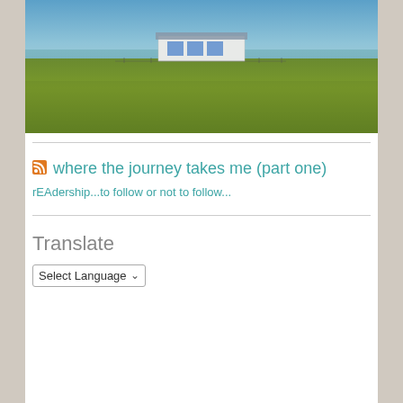[Figure (photo): A coastal landscape photo showing a grassy field with a small white building with blue roof in the middle distance, ocean/sea horizon in the background under a blue sky.]
where the journey takes me (part one)
rEAdership...to follow or not to follow...
Translate
Select Language